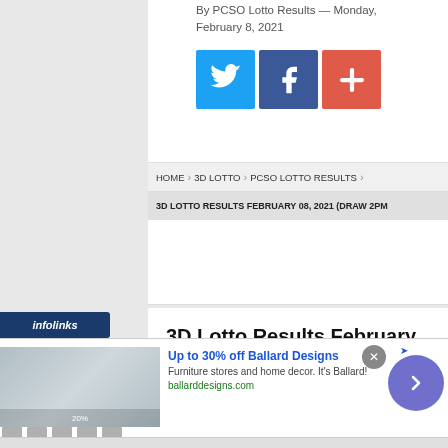By PCSO Lotto Results — Monday, February 8, 2021
[Figure (other): Social share icons: Twitter (blue), Facebook (dark blue), Plus/Add (red-orange)]
HOME > 3D LOTTO > PCSO LOTTO RESULTS
3D LOTTO RESULTS FEBRUARY 08, 2021 (DRAW 2PM
3D Lotto Results February 08, 2021 (Draw 2pm 5pm 9pm)
[Figure (infographic): Infolinks advertisement banner: Up to 30% off Ballard Designs. Furniture stores and home decor. It's Ballard! ballarddesigns.com. With product image thumbnail, close button, and navigation arrow button.]